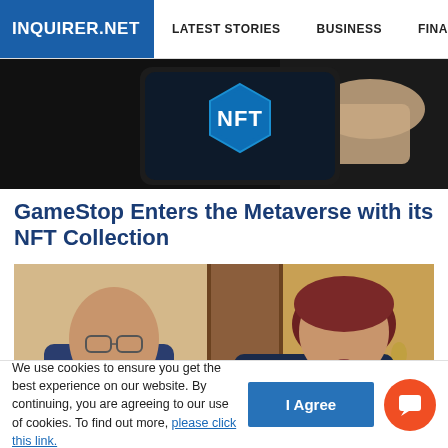INQUIRER.NET | LATEST STORIES | BUSINESS | FINANCE | TECHNOLO
[Figure (photo): Hand holding a smartphone displaying an NFT logo (blue hexagonal shield with 'NFT' text) against a dark background]
GameStop Enters the Metaverse with its NFT Collection
[Figure (photo): Two people seated at a table: a bald man in dark blue polo shirt on the left, and a woman with short brown hair in a dark top on the right, speaking. A colorful poster/image is visible between them.]
We use cookies to ensure you get the best experience on our website. By continuing, you are agreeing to our use of cookies. To find out more, please click this link.